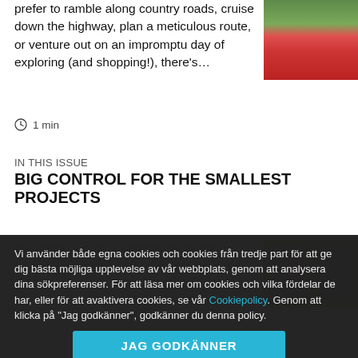prefer to ramble along country roads, cruise down the highway, plan a meticulous route, or venture out on an impromptu day of exploring (and shopping!), there's…
[Figure (photo): Red vintage pickup truck on a road, driver visible through window, green trees in background]
1 min
IN THIS ISSUE
BIG CONTROL FOR THE SMALLEST PROJECTS
Designing a quilt is just the beginning. Giving it a beautiful finish is why I use the
[Figure (photo): Interior room scene with a person near a window, sewing or quilting related]
Vi använder både egna cookies och cookies från tredje part för att ge dig bästa möjliga upplevelse av vår webbplats, genom att analysera dina sökpreferenser. För att läsa mer om cookies och vilka fördelar de har, eller för att avaktivera cookies, se vår Cookiepolicy. Genom att klicka på "Jag godkänner", godkänner du denna policy.
JAG GODKÄNNER